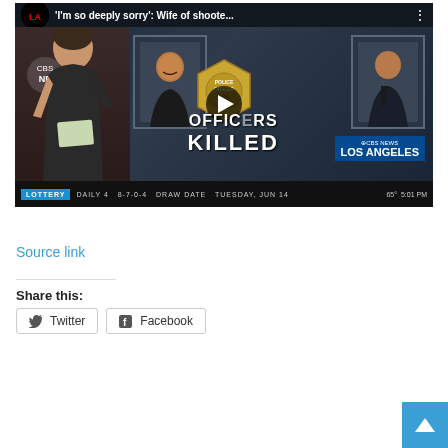[Figure (screenshot): CBS News Los Angeles video thumbnail showing a female news anchor on the left, two officer portrait photos framed on screen, a police badge in the center, text reading 'OFFICERS KILLED', a play button overlay, a CBS News Los Angeles bug in the lower right, and a ticker bar at the bottom showing 'LOTTERY DAILY 4 8-7-0-4 DRAW DATE TUESDAY, JUN 14' and '65° 5:01 PM'. Title bar shows: 'I'm so deeply sorry': Wife of shoote...]
Source link
Share this:
Twitter
Facebook